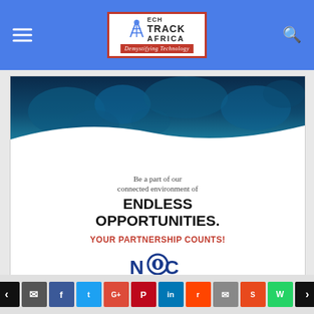Tech Track Africa — Demystifying Technology
[Figure (illustration): NCC (Nigerian Communications Commission) advertisement banner featuring a globe/world map image at top with blue tones, text 'Be a part of our connected environment of ENDLESS OPPORTUNITIES. YOUR PARTNERSHIP COUNTS!' with NCC logo and contact details footer bar showing Tel: 234-9-4617000 Fax: 234-9-4617514 | www.ncc.gov.ng | info@ncc.gov.ng]
MOST POPULAR
Social share buttons: prev, comment, Facebook, Twitter, Google+, Pinterest, LinkedIn, Reddit, Email, StumbleUpon, WhatsApp, next